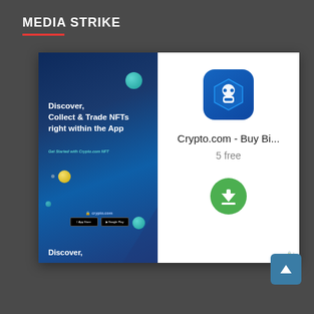MEDIA STRIKE
[Figure (screenshot): A mobile app advertisement for Crypto.com NFT showing a dark blue space-themed image with text 'Discover, Collect & Trade NFTs right within the App' and 'Get Started with Crypto.com NFT', alongside an app store card showing the Crypto.com app icon, the title 'Crypto.com - Buy Bi...', subtitle '5 free', and a green download button.]